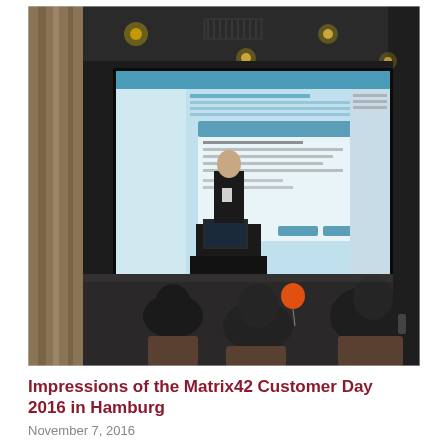[Figure (photo): A conference room photo showing a presenter standing at a podium in front of a large projection screen displaying software/UI content. The room is dark with ceiling spotlights. Audience members are seated in the foreground. A beige curtain is visible on the left side. An orange balloon is on the floor near the screen.]
Impressions of the Matrix42 Customer Day 2016 in Hamburg
November 7, 2016